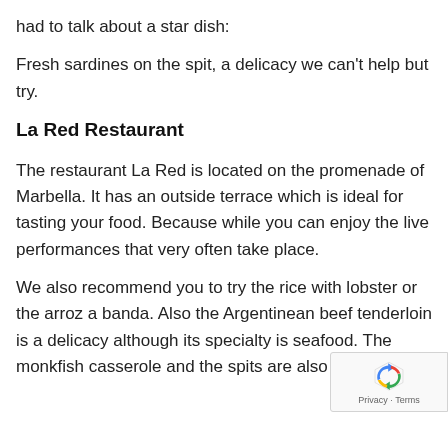had to talk about a star dish:
Fresh sardines on the spit, a delicacy we can't help but try.
La Red Restaurant
The restaurant La Red is located on the promenade of Marbella. It has an outside terrace which is ideal for tasting your food. Because while you can enjoy the live performances that very often take place.
We also recommend you to try the rice with lobster or the arroz a banda. Also the Argentinean beef tenderloin is a delicacy although its specialty is seafood. The monkfish casserole and the spits are also